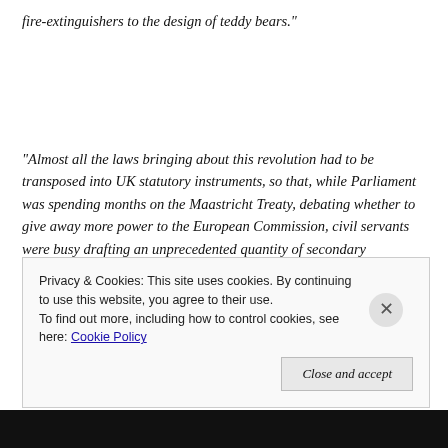fire-extinguishers to the design of teddy bears."
“Almost all the laws bringing about this revolution had to be transposed into UK statutory instruments, so that, while Parliament was spending months on the Maastricht Treaty, debating whether to give away more power to the European Commission, civil servants were busy drafting an unprecedented quantity of secondary legislation.... All this was ‘nodded through’ Parliament without debate, using powers MPs had already
Privacy & Cookies: This site uses cookies. By continuing to use this website, you agree to their use.
To find out more, including how to control cookies, see here: Cookie Policy
Close and accept